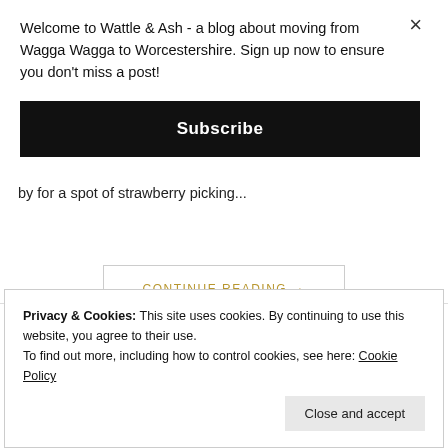Welcome to Wattle & Ash - a blog about moving from Wagga Wagga to Worcestershire. Sign up now to ensure you don't miss a post!
Subscribe
was pretty sweet. And this weekend past I'm she Popped by for a spot of strawberry picking...
CONTINUE READING →
Privacy & Cookies: This site uses cookies. By continuing to use this website, you agree to their use.
To find out more, including how to control cookies, see here: Cookie Policy
Close and accept